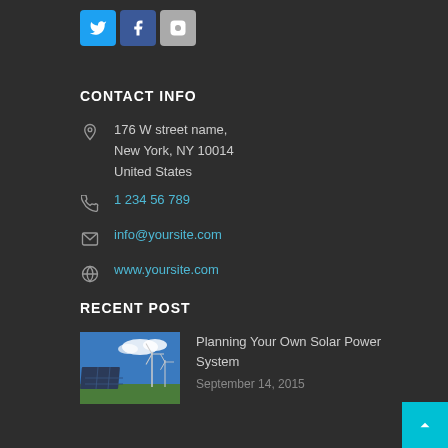[Figure (infographic): Social media icons: Twitter (blue), Facebook (dark blue), Instagram (gray)]
CONTACT INFO
176 W street name, New York, NY 10014 United States
1 234 56 789
info@yoursite.com
www.yoursite.com
RECENT POST
[Figure (photo): Solar panels and wind turbines in a green field under blue sky]
Planning Your Own Solar Power System
September 14, 2015